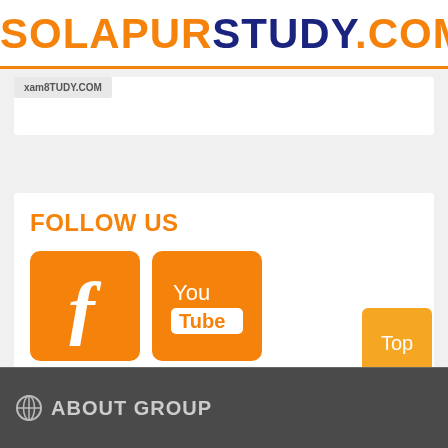SOLAPURSTUDY.COM
xam8TUDY.COM
FOLLOW US
[Figure (logo): Facebook orange square button with white 'f' icon]
[Figure (logo): YouTube orange square button with white 'You Tube' icon]
Top
ABOUT GROUP